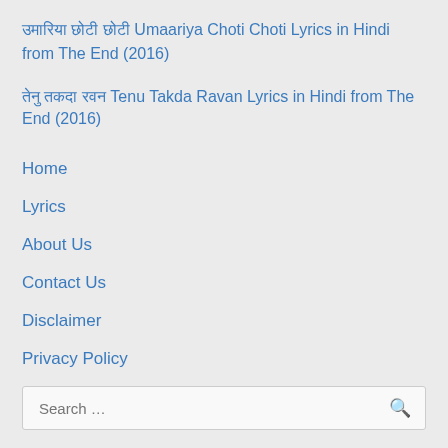उमारिया छोटी छोटी Umaariya Choti Choti Lyrics in Hindi from The End (2016)
तेनु तकदा रवन Tenu Takda Ravan Lyrics in Hindi from The End (2016)
Home
Lyrics
About Us
Contact Us
Disclaimer
Privacy Policy
Terms and Conditions